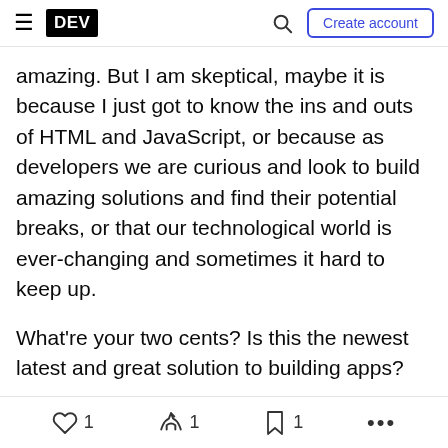DEV — Create account
amazing. But I am skeptical, maybe it is because I just got to know the ins and outs of HTML and JavaScript, or because as developers we are curious and look to build amazing solutions and find their potential breaks, or that our technological world is ever-changing and sometimes it hard to keep up.
What're your two cents? Is this the newest latest and great solution to building apps?
Discussion (7)
Subscribe